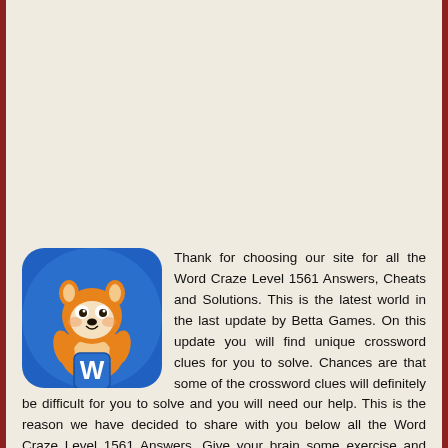[Figure (illustration): Word Craze game mascot: a cartoon fox/raccoon character holding a blue tile with letter W, on a blue circular background]
Thank for choosing our site for all the Word Craze Level 1561 Answers, Cheats and Solutions. This is the latest world in the last update by Betta Games. On this update you will find unique crossword clues for you to solve. Chances are that some of the crossword clues will definitely be difficult for you to solve and you will need our help. This is the reason we have decided to share with you below all the Word Craze Level 1561 Answers. Give your brain some exercise and solve your way through brilliant crosswords published every day! You will be redirected to the appropriate game level after you click any of the crossword